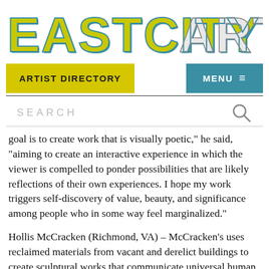[Figure (logo): EastCityArt logo in large stylized block letters, yellow-green and teal/blue with shadow effect]
ARTIST DIRECTORY | MENU
SEARCH
goal is to create work that is visually poetic," he said, "aiming to create an interactive experience in which the viewer is compelled to ponder possibilities that are likely reflections of their own experiences. I hope my work triggers self-discovery of value, beauty, and significance among people who in some way feel marginalized."
Hollis McCracken (Richmond, VA) – McCracken's uses reclaimed materials from vacant and derelict buildings to create sculptural works that communicate universal human emotions, such as abandonment, isolation, absence, and loneliness. "I've been particularly drawn to rundown and